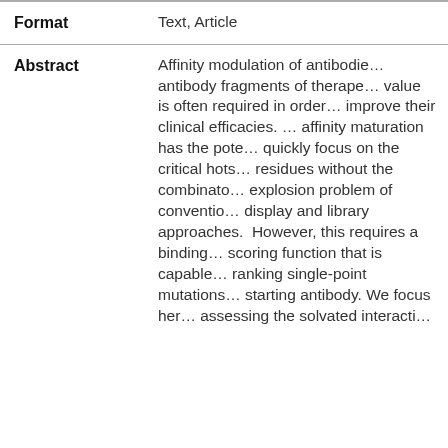| Field | Value |
| --- | --- |
| Format | Text, Article |
| Abstract | Affinity modulation of antibodies and antibody fragments of therapeutic value is often required in order to improve their clinical efficacies. While affinity maturation has the potential to quickly focus on the critical hotspot residues without the combinatorial explosion problem of conventional display and library approaches. However, this requires a binding scoring function that is capable of ranking single-point mutations from a starting antibody. We focus here on assessing the solvated interacti… |